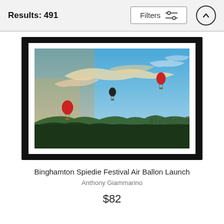Results: 491
[Figure (screenshot): Filters button with sliders icon and an up-arrow circular button in the top bar]
[Figure (photo): Framed photograph of three hot air balloons in a blue and golden sunrise sky over a hilly landscape. Title: Binghamton Spiedie Festival Air Ballon Launch by Anthony Giammarino, priced at $82.]
Binghamton Spiedie Festival Air Ballon Launch
Anthony Giammarino
$82